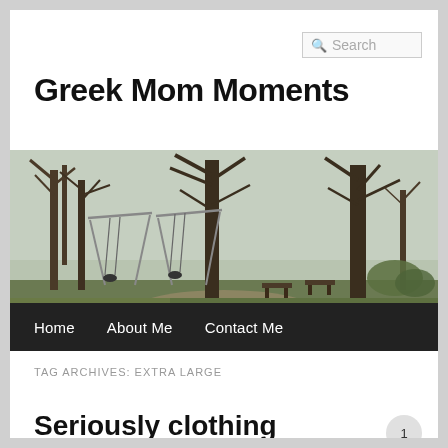Search
Greek Mom Moments
[Figure (photo): Outdoor park scene with bare trees, swing sets, benches, and open grassy area under an overcast sky]
Home | About Me | Contact Me
TAG ARCHIVES: EXTRA LARGE
Seriously clothing